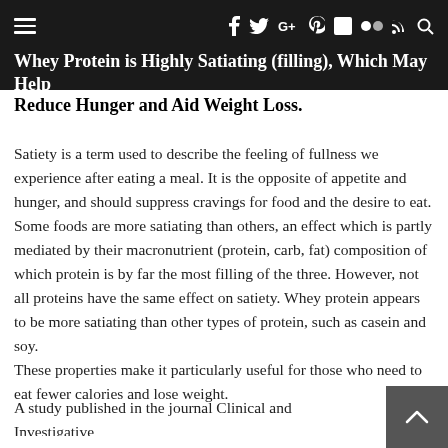≡  f  y  G+   pinterest  in  flickr  rss  search
Whey Protein is Highly Satiating (filling), Which May Help Reduce Hunger and Aid Weight Loss.
Satiety is a term used to describe the feeling of fullness we experience after eating a meal. It is the opposite of appetite and hunger, and should suppress cravings for food and the desire to eat. Some foods are more satiating than others, an effect which is partly mediated by their macronutrient (protein, carb, fat) composition of which protein is by far the most filling of the three. However, not all proteins have the same effect on satiety. Whey protein appears to be more satiating than other types of protein, such as casein and soy.
These properties make it particularly useful for those who need to eat fewer calories and lose weight.
A study published in the journal Clinical and Investigative